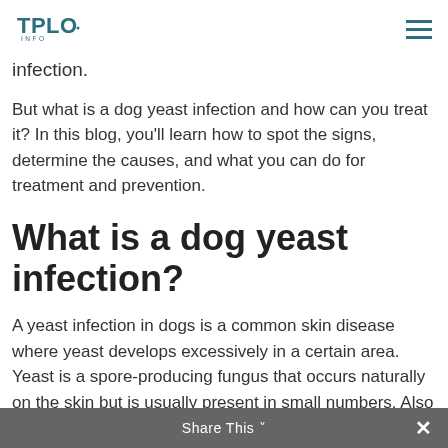TPLO INFO [logo] [hamburger menu]
infection.
But what is a dog yeast infection and how can you treat it? In this blog, you'll learn how to spot the signs, determine the causes, and what you can do for treatment and prevention.
What is a dog yeast infection?
A yeast infection in dogs is a common skin disease where yeast develops excessively in a certain area. Yeast is a spore-producing fungus that occurs naturally on the skin but is usually present in small numbers. Also known as Malassezia dermatitis, yeast infections are usually found in the ears, skin folds and in between paw pads. Overgrown
Share This ×